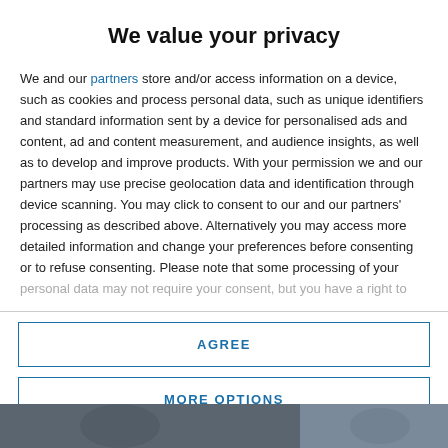We value your privacy
We and our partners store and/or access information on a device, such as cookies and process personal data, such as unique identifiers and standard information sent by a device for personalised ads and content, ad and content measurement, and audience insights, as well as to develop and improve products. With your permission we and our partners may use precise geolocation data and identification through device scanning. You may click to consent to our and our partners' processing as described above. Alternatively you may access more detailed information and change your preferences before consenting or to refuse consenting. Please note that some processing of your personal data may not require your consent, but you have a right to
AGREE
MORE OPTIONS
[Figure (photo): Bottom strip showing partial photographs of people]